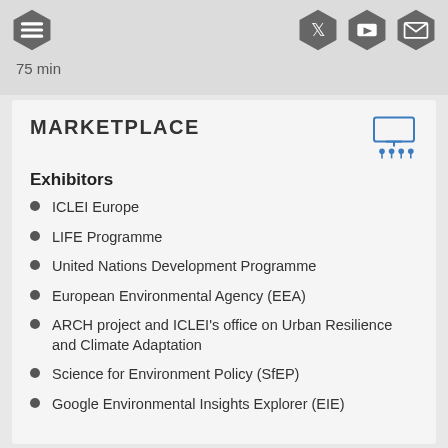75 min
MARKETPLACE
Exhibitors
ICLEI Europe
LIFE Programme
United Nations Development Programme
European Environmental Agency (EEA)
ARCH project and ICLEI's office on Urban Resilience and Climate Adaptation
Science for Environment Policy (SfEP)
Google Environmental Insights Explorer (EIE)